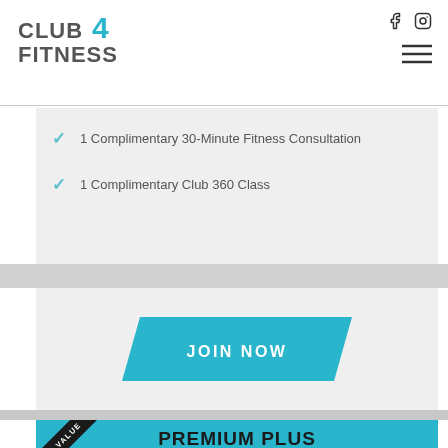[Figure (logo): Club 4 Fitness logo with teal text and number 4]
1 Complimentary 30-Minute Fitness Consultation
1 Complimentary Club 360 Class
JOIN NOW
PREMIUM PLUS
$35 /month
[Figure (infographic): Best Value ribbon banner in top-left corner of Premium Plus section]